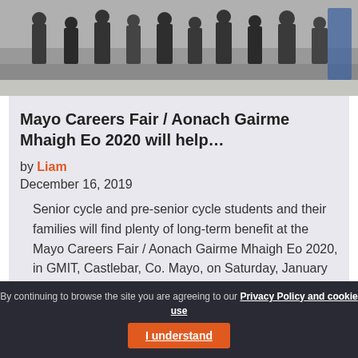[Figure (photo): Photo showing people standing at what appears to be a careers fair event, cropped at the top]
Mayo Careers Fair / Aonach Gairme Mhaigh Eo 2020 will help…
by Liam
December 16, 2019
Senior cycle and pre-senior cycle students and their families will find plenty of long-term benefit at the Mayo Careers Fair / Aonach Gairme Mhaigh Eo 2020, in GMIT, Castlebar, Co. Mayo, on Saturday, January 11th (11am to 3pm). An exciting…
[Figure (photo): Partial photo at bottom of page showing a road/street sign and a person]
By continuing to browse the site you are agreeing to our Privacy Policy and cookie use  I understand